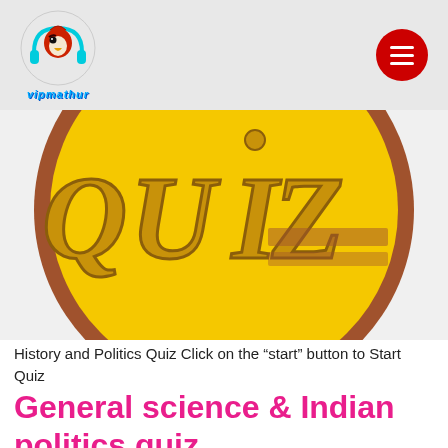vipmathur
[Figure (illustration): A circular coin-style badge with a brown border and bright yellow background displaying the word QUIZ in large wooden/rustic styled letters]
History and Politics Quiz Click on the "start" button to Start Quiz
General science & Indian politics quiz